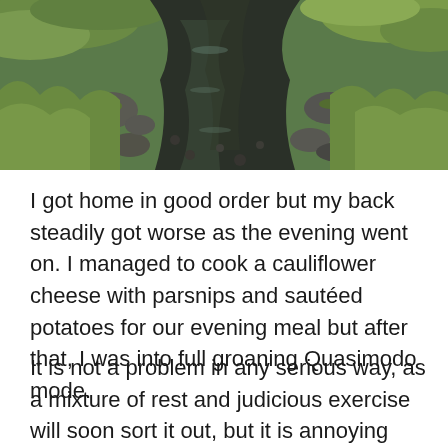[Figure (photo): Photograph of a rocky stream or small river with moss-covered stones, running water, and grassy banks with vegetation on either side.]
I got home in good order but my back steadily got worse as the evening went on. I managed to cook a cauliflower cheese with parsnips and sautéed potatoes for our evening meal but after that, I was into full groaning Quasimodo mode.
It is not a problem in any serious way, as a mixture of rest and judicious exercise will soon sort it out, but it is annoying when it happens, especially as it was probably caused by